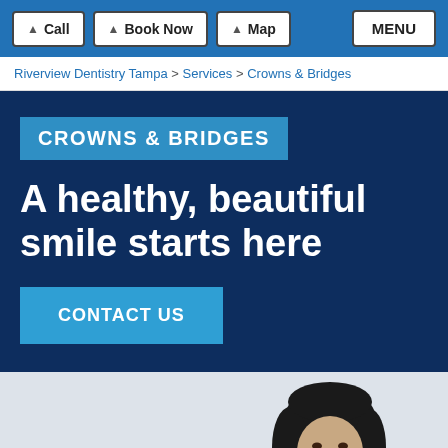Call | Book Now | Map | MENU
Riverview Dentistry Tampa > Services > Crowns & Bridges
CROWNS & BRIDGES
A healthy, beautiful smile starts here
CONTACT US
[Figure (photo): Woman with dark hair smiling, shown from shoulders up against light background]